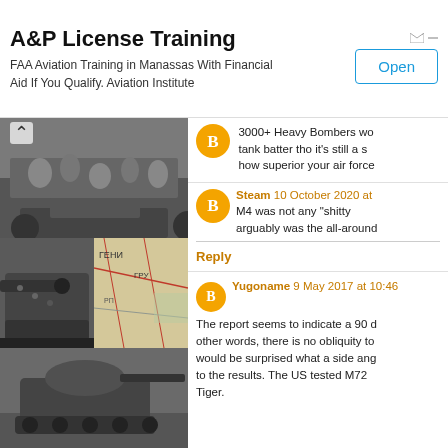[Figure (other): Advertisement banner: A&P License Training - FAA Aviation Training in Manassas With Financial Aid If You Qualify. Aviation Institute. Open button.]
[Figure (photo): Left column collage of black-and-white WWII tank photographs and a map. Top: soldiers/crowd image. Middle left: close-up of tank gun barrel. Middle right: partial map with Cyrillic text. Bottom: tank in field.]
3000+ Heavy Bombers wo tank batter tho it's still a s how superior your air force
Steam 10 October 2020 at
M4 was not any "shitty arguably was the all-around
Reply
Yugoname 9 May 2017 at 10:46
The report seems to indicate a 90 d other words, there is no obliquity to would be surprised what a side ang to the results. The US tested M72 Tiger.